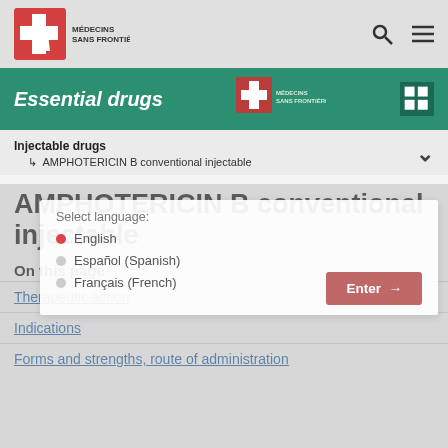Médecins Sans Frontières — Essential drugs
Essential drugs
Injectable drugs
↳ AMPHOTERICIN B conventional injectable
AMPHOTERICIN B conventional injectable
On this page
Therapeutic action
Indications
Forms and strengths, route of administration